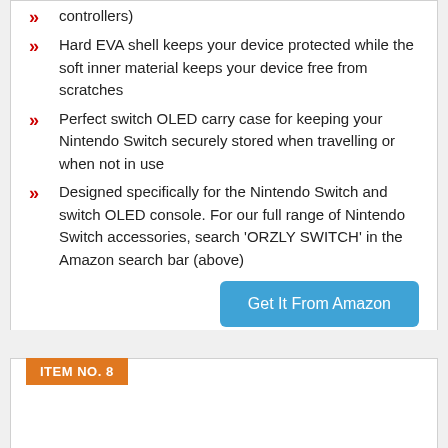controllers)
Hard EVA shell keeps your device protected while the soft inner material keeps your device free from scratches
Perfect switch OLED carry case for keeping your Nintendo Switch securely stored when travelling or when not in use
Designed specifically for the Nintendo Switch and switch OLED console. For our full range of Nintendo Switch accessories, search 'ORZLY SWITCH' in the Amazon search bar (above)
Get It From Amazon
ITEM NO. 8